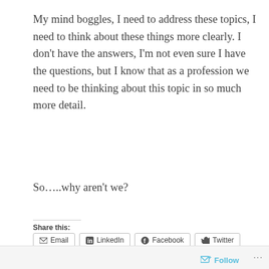My mind boggles, I need to address these topics, I need to think about these things more clearly. I don’t have the answers, I’m not even sure I have the questions, but I know that as a profession we need to be thinking about this topic in so much more detail.
So…..why aren’t we?
Share this: Email LinkedIn Facebook Twitter Print More